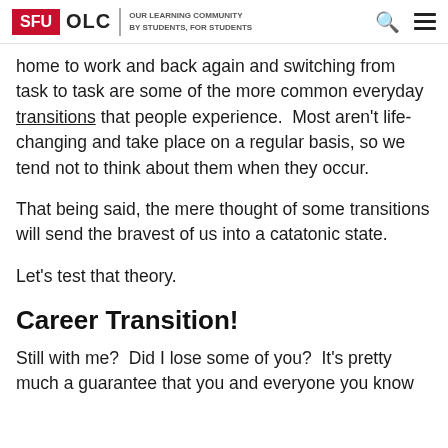SFU OLC | OUR LEARNING COMMUNITY BY STUDENTS, FOR STUDENTS
home to work and back again and switching from task to task are some of the more common everyday transitions that people experience.  Most aren't life-changing and take place on a regular basis, so we tend not to think about them when they occur.
That being said, the mere thought of some transitions will send the bravest of us into a catatonic state.
Let's test that theory.
Career Transition!
Still with me?  Did I lose some of you?  It's pretty much a guarantee that you and everyone you know